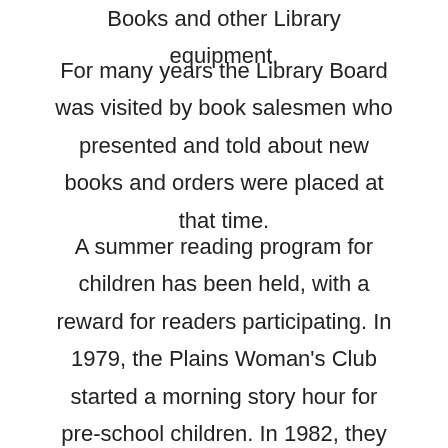Books and other Library equipment.
For many years the Library Board was visited by book salesmen who presented and told about new books and orders were placed at that time.
A summer reading program for children has been held, with a reward for readers participating. In 1979, the Plains Woman's Club started a morning story hour for pre-school children. In 1982, they purchased a record player for use during the children's hour, which was to remain in the Library.